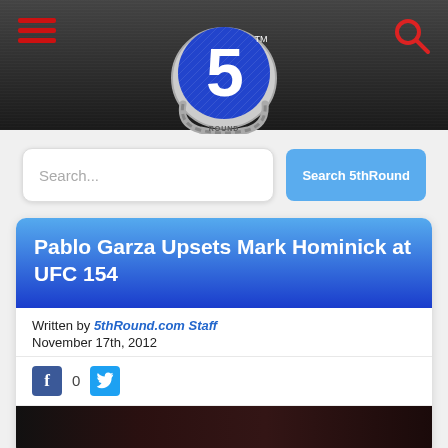[Figure (screenshot): Website header banner with dark crowd/arena background image]
[Figure (logo): 5thRound.com logo: blue metallic circle with large white '5' and chain link horseshoe decoration, 'TM' mark, 'ROUND' text]
Search...
Search 5thRound
Pablo Garza Upsets Mark Hominick at UFC 154
Written by 5thRound.com Staff
November 17th, 2012
[Figure (photo): Partial photo of UFC fighters, dark reddish tones, bottom of the article card]